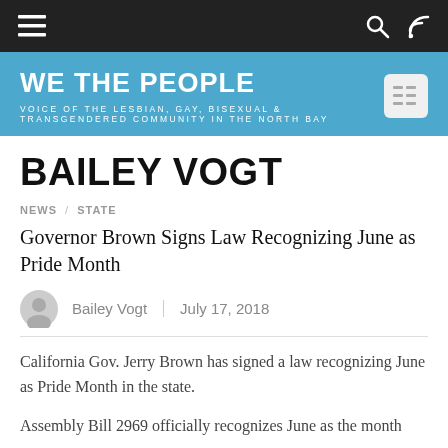WE THE PEOPLE — VOICE OF THE LESBIAN, GAY, BISEXUAL & TRANSGENDERED COMMUNITY IN THE NORTH BAY
BAILEY VOGT
NEWS / STATE
Governor Brown Signs Law Recognizing June as Pride Month
Bailey Vogt   July 17, 2018
California Gov. Jerry Brown has signed a law recognizing June as Pride Month in the state.
Assembly Bill 2969 officially recognizes June as the month